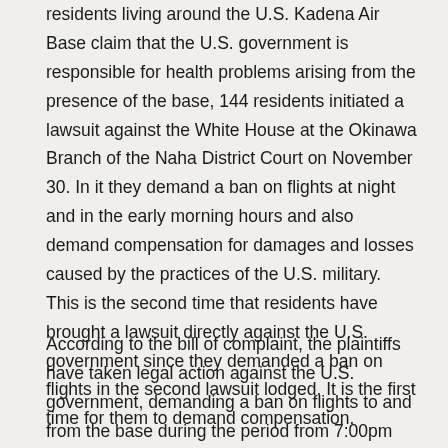residents living around the U.S. Kadena Air Base claim that the U.S. government is responsible for health problems arising from the presence of the base, 144 residents initiated a lawsuit against the White House at the Okinawa Branch of the Naha District Court on November 30. In it they demand a ban on flights at night and in the early morning hours and also demand compensation for damages and losses caused by the practices of the U.S. military. This is the second time that residents have brought a lawsuit directly against the U.S. government since they demanded a ban on flights in the second lawsuit lodged. It is the first time for them to demand compensation.
According to the bill of complaint, the plaintiffs have taken legal action against the U.S. government, demanding a ban on flights to and from the base during the period from 7:00pm until 7:00am the next day. They